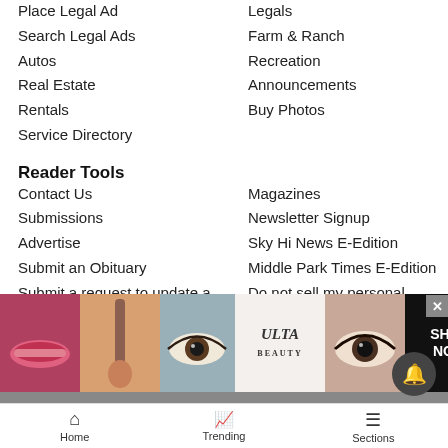Place Legal Ad
Legals
Search Legal Ads
Farm & Ranch
Autos
Recreation
Real Estate
Announcements
Rentals
Buy Photos
Service Directory
Reader Tools
Contact Us
Magazines
Submissions
Newsletter Signup
Advertise
Sky Hi News E-Edition
Submit an Obituary
Middle Park Times E-Edition
Submit a request to update a crime story
Do not sell my personal information
Archive
News Neighbors
Aspen-Snowmass Village
Park City-Utah
Breckenridge
Summit County
[Figure (screenshot): Advertisement banner with beauty/makeup images and Ulta logo with SHOP NOW text]
Home   Trending   Sections